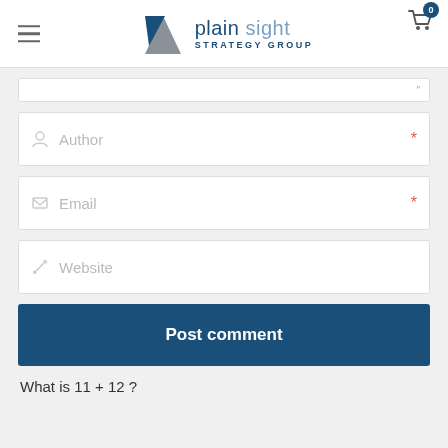plain sight STRATEGY GROUP
[Figure (screenshot): Partial comment text area at the top, partially visible]
Author *
Email *
Website
Post comment
What is 11 + 12 ?